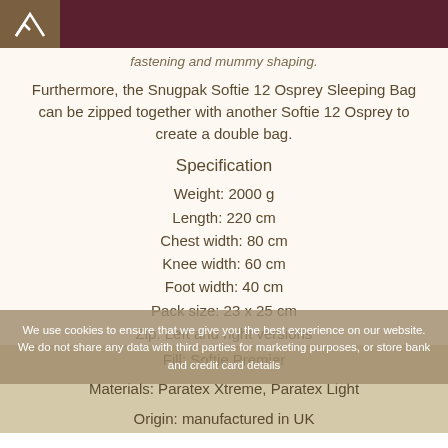fastening and mummy shaping.
Furthermore, the Snugpak Softie 12 Osprey Sleeping Bag can be zipped together with another Softie 12 Osprey to create a double bag.
Specification
Weight: 2000 g
Length: 220 cm
Chest width: 80 cm
Knee width: 60 cm
Foot width: 40 cm
Pack size: 23 x 25 cm
Zip: Left and right versions
Fill: Softie Premier
Materials: Paratex Xtreme, Paratex Light
Origin: manufactured in UK
We use cookies to ensure that we give you the best experience on our website. We do not share any data with third parties for marketing purposes, or store bank and credit card details